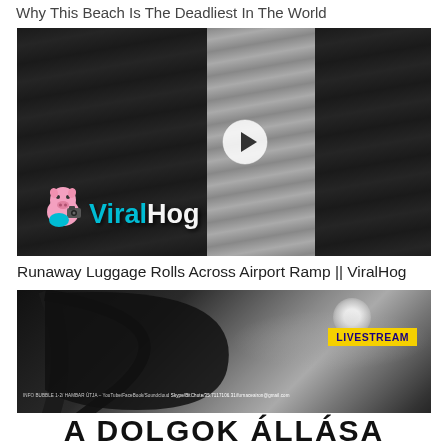Why This Beach Is The Deadliest In The World
[Figure (screenshot): Video thumbnail showing airport tarmac/runway surface with ViralHog watermark logo (pig with camera) and play button overlay]
Runaway Luggage Rolls Across Airport Ramp || ViralHog
[Figure (screenshot): Dark livestream thumbnail with grim reaper scythe, moonlit cloudy sky, yellow LIVESTREAM badge, small text info row, and large bold Hungarian text 'A DOLGOK ÁLLÁSA' at bottom]